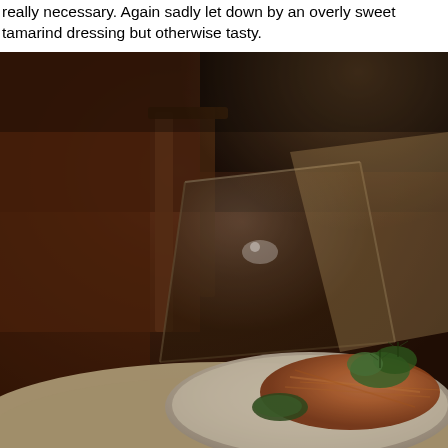really necessary. Again sadly let down by an overly sweet tamarind dressing but otherwise tasty.
[Figure (photo): A blurry, low-light restaurant photo showing a plate of food with shredded salad or slaw garnished with green herbs on a white plate, placed on a table. In the background there is a dark wooden chair and dim ambient lighting with warm brown and reddish tones.]